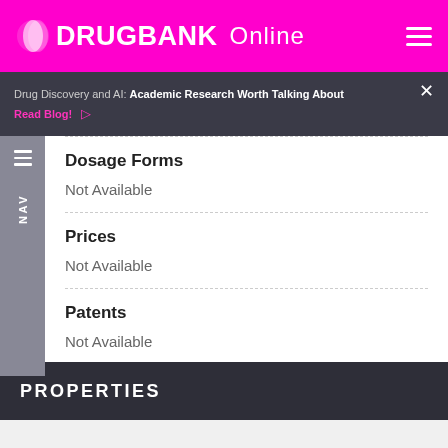DRUGBANK Online
Drug Discovery and AI: Academic Research Worth Talking About Read Blog!
Dosage Forms
Not Available
Prices
Not Available
Patents
Not Available
PROPERTIES